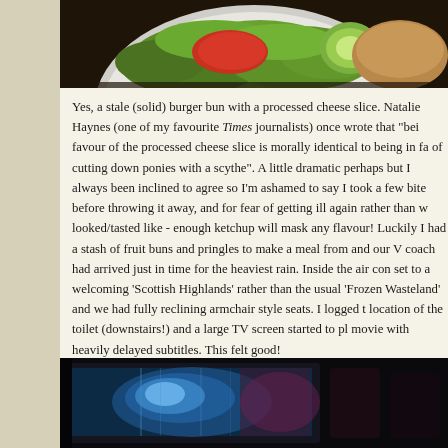[Figure (photo): Top portion of a plate with a burger bun open-faced, showing green lettuce, a slice of tomato, and cucumber on a white plate against a dark background]
Yes, a stale (solid) burger bun with a processed cheese slice. Natalie Haynes (one of my favourite Times journalists) once wrote that "being in favour of the processed cheese slice is morally identical to being in favour of cutting down ponies with a scythe". A little dramatic perhaps but I've always been inclined to agree so I'm ashamed to say I took a few bites before throwing it away, and for fear of getting ill again rather than what it looked/tasted like - enough ketchup will mask any flavour! Luckily I had a stash of fruit buns and pringles to make a meal from and our V coach had arrived just in time for the heaviest rain. Inside the air con set to a welcoming 'Scottish Highlands' rather than the usual 'Frozen Wasteland' and we had fully reclining armchair style seats. I logged t location of the toilet (downstairs!) and a large TV screen started to pl movie with heavily delayed subtitles. This felt good!
[Figure (photo): Dark interior view from a coach or bus window at night, showing lights and a blurred rainy street scene outside]